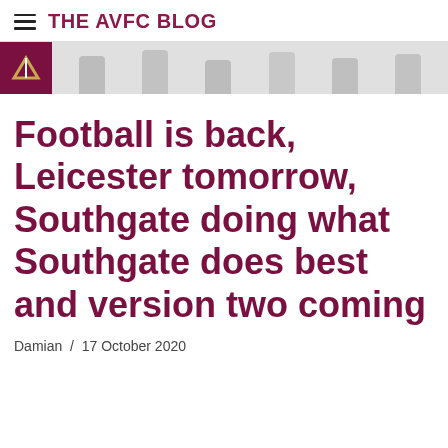THE AVFC BLOG
[Figure (photo): Aston Villa FC banner with club logo on left and player portraits across the right]
Football is back, Leicester tomorrow, Southgate doing what Southgate does best and version two coming
Damian  /  17 October 2020